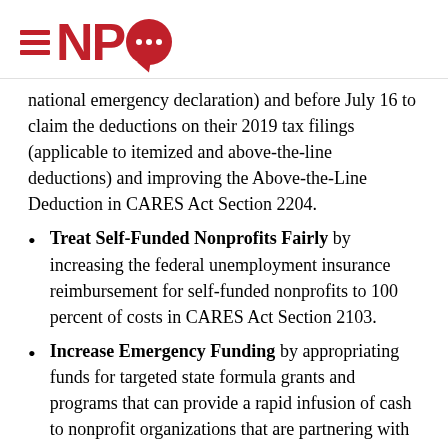NPQ logo
national emergency declaration) and before July 16 to claim the deductions on their 2019 tax filings (applicable to itemized and above-the-line deductions) and improving the Above-the-Line Deduction in CARES Act Section 2204.
Treat Self-Funded Nonprofits Fairly by increasing the federal unemployment insurance reimbursement for self-funded nonprofits to 100 percent of costs in CARES Act Section 2103.
Increase Emergency Funding by appropriating funds for targeted state formula grants and programs that can provide a rapid infusion of cash to nonprofit organizations that are partnering with state and local governments to protect vulnerable families